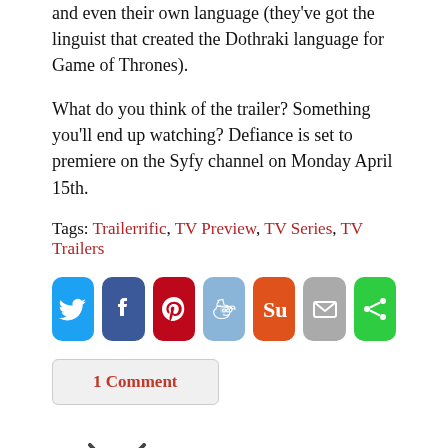and even their own language (they've got the linguist that created the Dothraki language for Game of Thrones).
What do you think of the trailer? Something you'll end up watching? Defiance is set to premiere on the Syfy channel on Monday April 15th.
Tags: Trailerrific, TV Preview, TV Series, TV Trailers
[Figure (infographic): Row of social media share buttons: Twitter (blue), Facebook (dark blue), Pinterest (red), Reddit (light blue), StumbleUpon (orange), Email (gray), Share (green)]
1 Comment
[Figure (illustration): TV icon illustration — a retro television set with antenna, gray screen, and buttons on the right side]
TV Preview: Game of Thrones Season 3 In Production Video